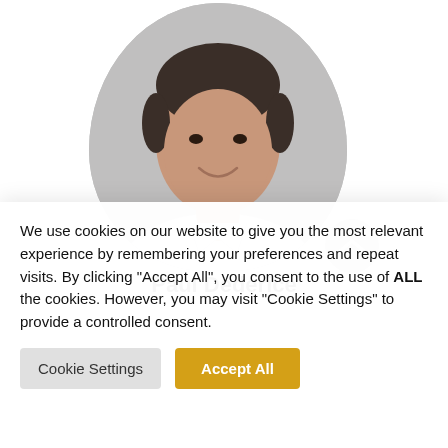[Figure (photo): Portrait photo of a middle-aged man with dark hair, smiling, wearing a white shirt, displayed inside a rounded oval/blob-shaped gray background frame. A gray circular scroll-up button appears in the lower right area.]
Paul Dederice
We use cookies on our website to give you the most relevant experience by remembering your preferences and repeat visits. By clicking "Accept All", you consent to the use of ALL the cookies. However, you may visit "Cookie Settings" to provide a controlled consent.
Cookie Settings
Accept All